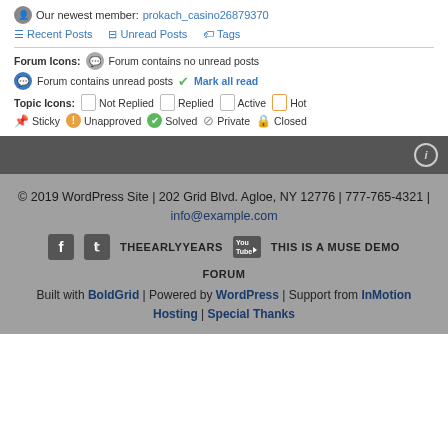Our newest member: prokach_casino26879370
Recent Posts  Unread Posts  Tags
Forum Icons: Forum contains no unread posts
Forum contains unread posts  Mark all read
Topic Icons: Not Replied  Replied  Active  Hot  Sticky  Unapproved  Solved  Private  Closed
© 2019 WordPress Site | 202 Grid Blvd. Agloe, NY 12776 | 777-765-4321 | info@example.com
THEEARLYYEARS  THIS IS A MUSE DEMO FORUM
Built with BoldGrid | Powered by WordPress | Support from InMotion Hosting | Special Thanks